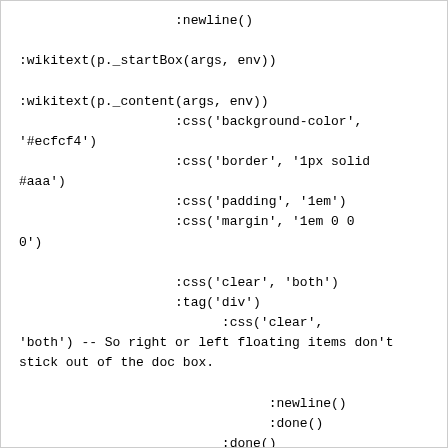:newline()

:wikitext(p._startBox(args, env))

:wikitext(p._content(args, env))
                    :css('background-color',
'#ecfcf4')
                    :css('border', '1px solid
#aaa')
                    :css('padding', '1em')
                    :css('margin', '1em 0 0
0')

                    :css('clear', 'both')
                    :tag('div')
                          :css('clear',
'both') -- So right or left floating items don't
stick out of the doc box.

                                :newline()
                                :done()
                          :done()
                    :wikitext(p._endBox(args, env))